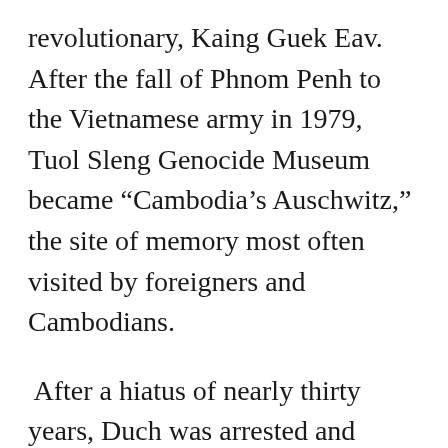revolutionary, Kaing Guek Eav. After the fall of Phnom Penh to the Vietnamese army in 1979, Tuol Sleng Genocide Museum became “Cambodia’s Auschwitz,” the site of memory most often visited by foreigners and Cambodians.
After a hiatus of nearly thirty years, Duch was arrested and brought to trial at the Extraordinary Chamber for the Courts of Cambodia (ECCC), a hybrid international